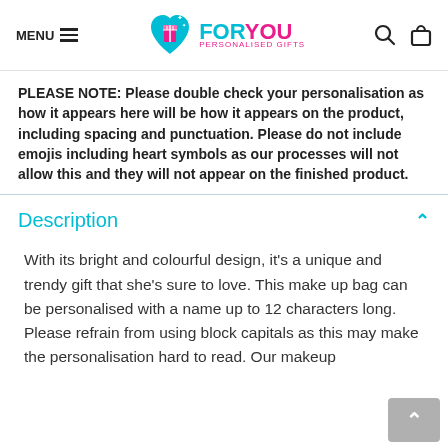MENU  FORYOU PERSONALISED GIFTS
PLEASE NOTE: Please double check your personalisation as how it appears here will be how it appears on the product, including spacing and punctuation. Please do not include emojis including heart symbols as our processes will not allow this and they will not appear on the finished product.
Description
With its bright and colourful design, it’s a unique and trendy gift that she’s sure to love. This make up bag can be personalised with a name up to 12 characters long. Please refrain from using block capitals as this may make the personalisation hard to read. Our makeup